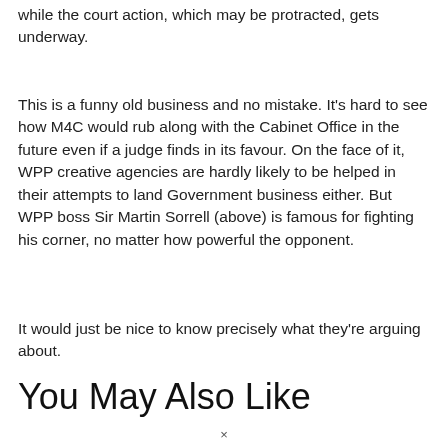while the court action, which may be protracted, gets underway.
This is a funny old business and no mistake. It's hard to see how M4C would rub along with the Cabinet Office in the future even if a judge finds in its favour. On the face of it, WPP creative agencies are hardly likely to be helped in their attempts to land Government business either. But WPP boss Sir Martin Sorrell (above) is famous for fighting his corner, no matter how powerful the opponent.
It would just be nice to know precisely what they're arguing about.
You May Also Like
×